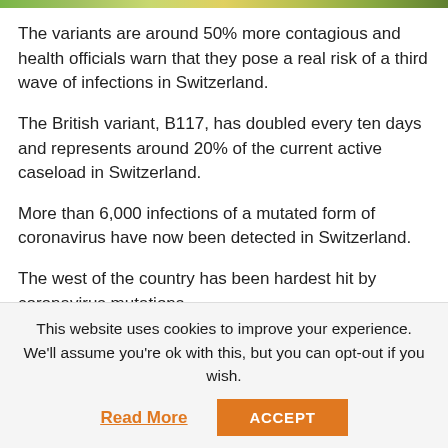[Figure (photo): Partial top strip showing outdoor/nature image]
The variants are around 50% more contagious and health officials warn that they pose a real risk of a third wave of infections in Switzerland.
The British variant, B117, has doubled every ten days and represents around 20% of the current active caseload in Switzerland.
More than 6,000 infections of a mutated form of coronavirus have now been detected in Switzerland.
The west of the country has been hardest hit by coronavirus mutations.
The British variant has been discovered in Vaud (451),
This website uses cookies to improve your experience. We'll assume you're ok with this, but you can opt-out if you wish.
Read More
ACCEPT